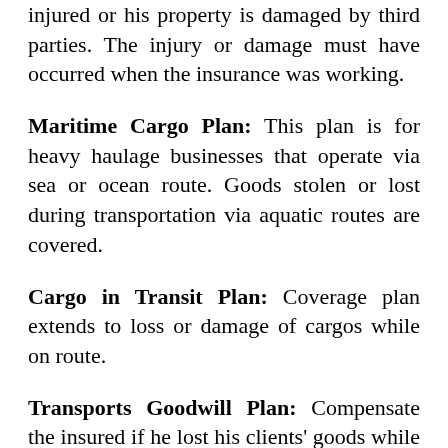injured or his property is damaged by third parties. The injury or damage must have occurred when the insurance was working.
Maritime Cargo Plan: This plan is for heavy haulage businesses that operate via sea or ocean route. Goods stolen or lost during transportation via aquatic routes are covered.
Cargo in Transit Plan: Coverage plan extends to loss or damage of cargos while on route.
Transports Goodwill Plan: Compensate the insured if he lost his clients' goods while transporting them.
Goods Liability Plan: Gives coverage to a